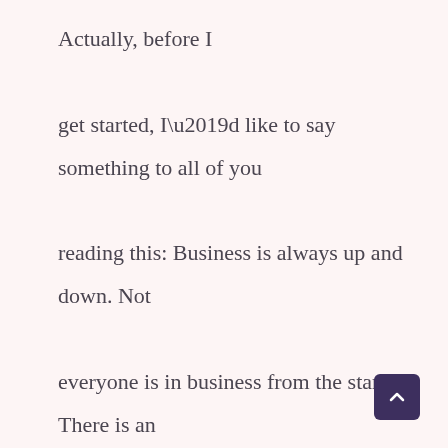Actually, before I get started, I'd like to say something to all of you reading this: Business is always up and down. Not everyone is in business from the start. There is an old saying in China, “Rainbow comes after wind and rain”.